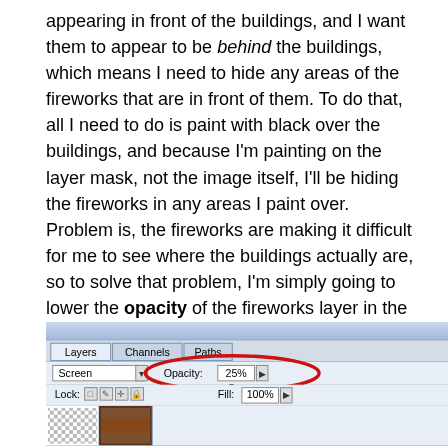appearing in front of the buildings, and I want them to appear to be behind the buildings, which means I need to hide any areas of the fireworks that are in front of them. To do that, all I need to do is paint with black over the buildings, and because I'm painting on the layer mask, not the image itself, I'll be hiding the fireworks in any areas I paint over. Problem is, the fireworks are making it difficult for me to see where the buildings actually are, so to solve that problem, I'm simply going to lower the opacity of the fireworks layer in the top right corner of the Layers palette. I'm going to lower it all the way down to about 25% so I have no trouble seeing the buildings behind them:
[Figure (screenshot): Photoshop Layers palette showing Screen blend mode dropdown, Opacity set to 25% (highlighted with red circle), Lock icons, Fill at 100%, and layer thumbnails at bottom.]